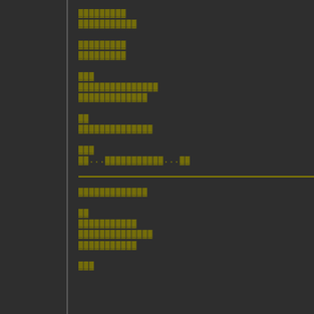[redacted line 1]
[redacted line 2]
[redacted line 1]
[redacted line 2]
[redacted]
[redacted long line 1]
[redacted long line 2]
[redacted short]
[redacted long line]
[redacted]
[redacted with dots pattern]
[redacted section header]
[redacted]
[redacted line 1]
[redacted line 2]
[redacted line 3]
[redacted]